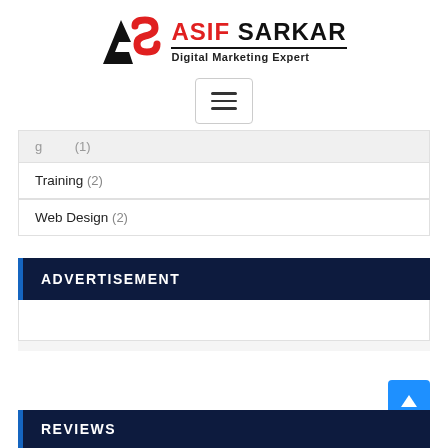[Figure (logo): Asif Sarkar Digital Marketing Expert logo with abstract A/S icon in black and red, bold text ASIF SARKAR in red and black, subtitle Digital Marketing Expert]
[Figure (screenshot): Hamburger menu toggle button with three horizontal lines inside a rounded rectangle border]
Training (2)
Web Design (2)
ADVERTISEMENT
REVIEWS